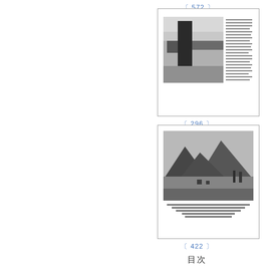〔 572 〕
[Figure (photo): Black and white photograph of a tall tree with surrounding landscape and text caption on the right side]
〔 296 〕
[Figure (photo): Black and white photograph of a mountain landscape with hills and small structures or animals in the foreground, with caption text below]
〔 422 〕
目次